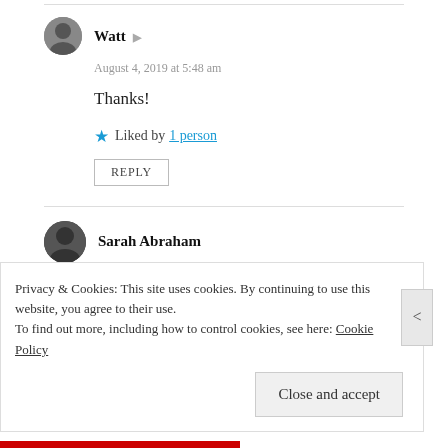Watt — August 4, 2019 at 5:48 am
Thanks!
Liked by 1 person
REPLY
Sarah Abraham
Privacy & Cookies: This site uses cookies. By continuing to use this website, you agree to their use.
To find out more, including how to control cookies, see here: Cookie Policy
Close and accept